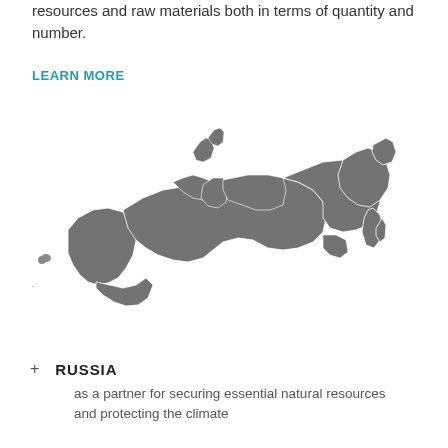resources and raw materials both in terms of quantity and number.
LEARN MORE
[Figure (map): Grey silhouette map of Russia showing internal regional boundaries on a white background.]
+ RUSSIA
as a partner for securing essential natural resources and protecting the climate